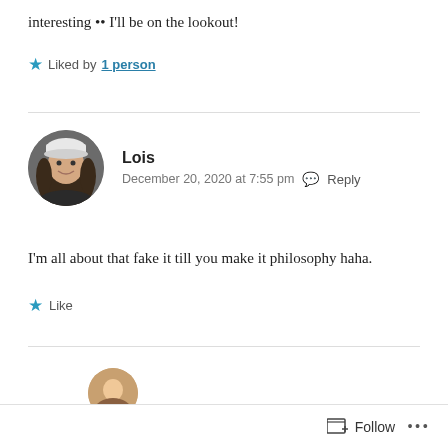interesting •• I'll be on the lookout!
★ Liked by 1 person
Lois
December 20, 2020 at 7:55 pm  Reply
I'm all about that fake it till you make it philosophy haha.
★ Like
Follow ...